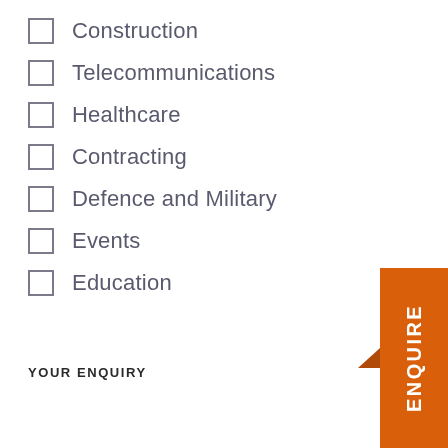Construction
Telecommunications
Healthcare
Contracting
Defence and Military
Events
Education
YOUR ENQUIRY
[Figure (other): Orange vertical tab with text 'ENQUIRE' rotated 90 degrees, positioned at the bottom right of the page, with a small darker notch on the left side.]